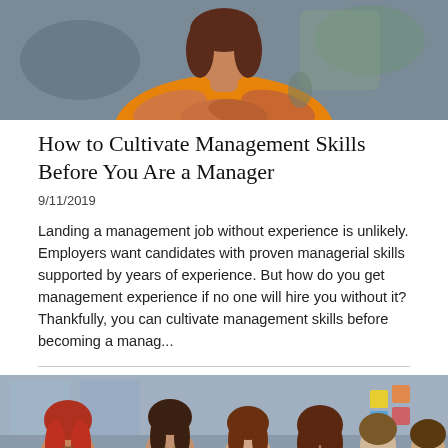[Figure (photo): Photo of a woman in an orange shirt with arms crossed, upper body visible against a blurred background]
How to Cultivate Management Skills Before You Are a Manager
9/11/2019
Landing a management job without experience is unlikely. Employers want candidates with proven managerial skills supported by years of experience. But how do you get management experience if no one will hire you without it? Thankfully, you can cultivate management skills before becoming a manag...
[Figure (photo): Group photo of six smiling diverse young professionals in a modern office environment]